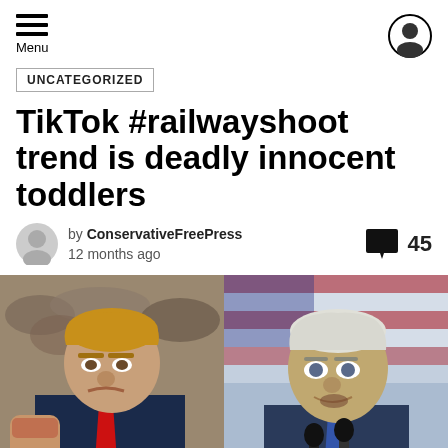Menu
UNCATEGORIZED
TikTok #railwayshoot trend is deadly innocent toddlers
by ConservativeFreePress 12 months ago | 45 comments
[Figure (photo): Split photo showing two political figures: on the left, a man with blond hair in a dark suit with a red tie raising a fist at a rally; on the right, an older man with white hair speaking at microphones in front of an American flag backdrop.]